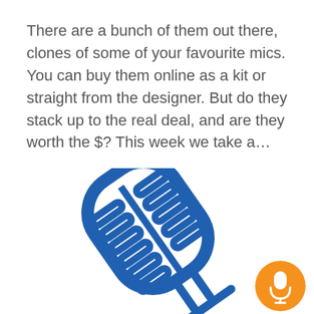There are a bunch of them out there, clones of some of your favourite mics. You can buy them online as a kit or straight from the designer. But do they stack up to the real deal, and are they worth the $? This week we take a…
[Figure (illustration): A blue vintage-style microphone icon tilted at an angle, rendered as a thick outline illustration on white background. An orange circular button with a white microphone icon appears in the bottom-right corner.]